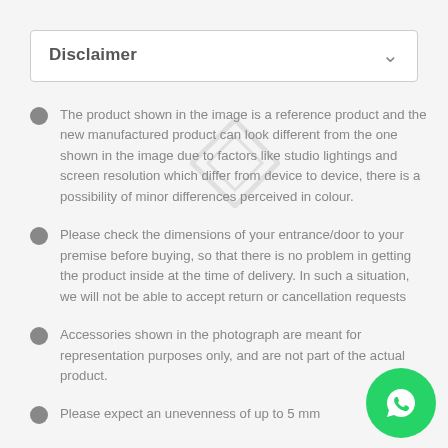Disclaimer
The product shown in the image is a reference product and the new manufactured product can look different from the one shown in the image due to factors like studio lightings and screen resolution which differ from device to device, there is a possibility of minor differences perceived in colour.
Please check the dimensions of your entrance/door to your premise before buying, so that there is no problem in getting the product inside at the time of delivery. In such a situation, we will not be able to accept return or cancellation requests
Accessories shown in the photograph are meant for representation purposes only, and are not part of the actual product.
Please expect an unevenness of up to 5 mm